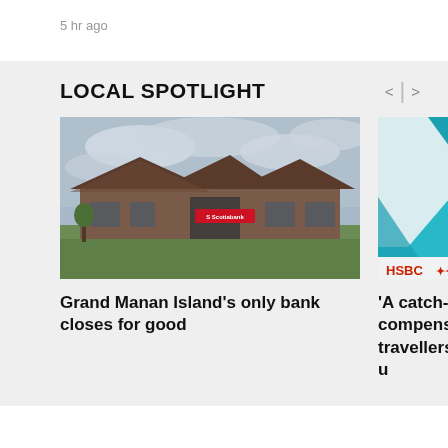5 hr ago
LOCAL SPOTLIGHT
[Figure (photo): Exterior photo of a Scotiabank branch building with a dark brown roof and brick facade, set on a grassy lot with a cloudy sky in the background. A Scotiabank sign is visible on the building.]
Grand Manan Island's only bank closes for good
[Figure (photo): Partial photo showing a turquoise building exterior with geometric white and teal shapes, and an HSBC logo partially visible at the bottom right.]
'A catch-al compensa travellers u